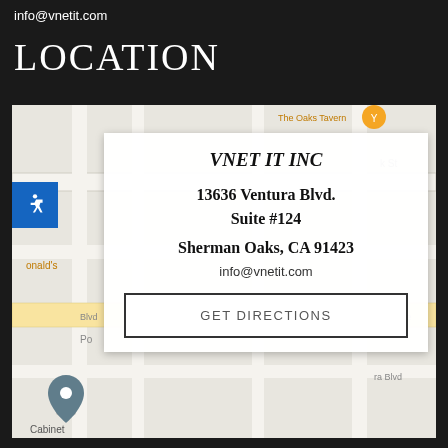info@vnetit.com
LOCATION
[Figure (map): Google Maps street map showing the location of VNET IT INC at 13636 Ventura Blvd, Sherman Oaks, CA with info card overlay and GET DIRECTIONS button]
VNET IT INC
13636 Ventura Blvd.
Suite #124
Sherman Oaks, CA 91423
info@vnetit.com
GET DIRECTIONS